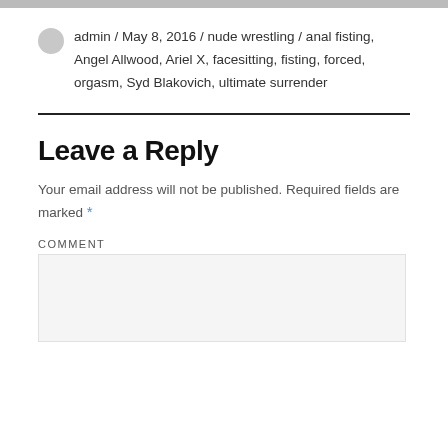[Figure (photo): Partial image strip at the top of the page, cropped]
admin / May 8, 2016 / nude wrestling / anal fisting, Angel Allwood, Ariel X, facesitting, fisting, forced, orgasm, Syd Blakovich, ultimate surrender
Leave a Reply
Your email address will not be published. Required fields are marked *
COMMENT